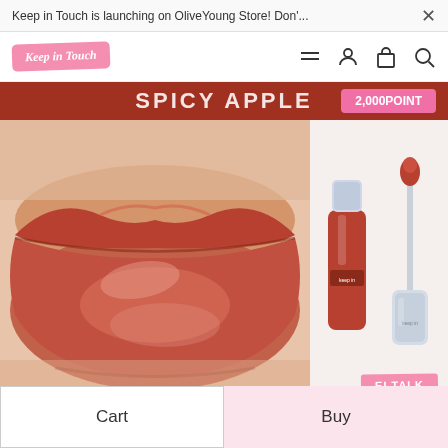Keep in Touch is launching on OliveYoung Store! Don'... ×
[Figure (logo): Keep in Touch brand logo badge in pink]
[Figure (screenshot): Navigation bar with hamburger menu, user, cart, and search icons]
SPICY APPLE
2,000POINT
[Figure (photo): Close-up photo of lips with terracotta-red lip gloss applied]
[Figure (photo): Product shot of Keep in Touch lip gloss bottle and applicator on white background]
EI TALK
Cart
Buy